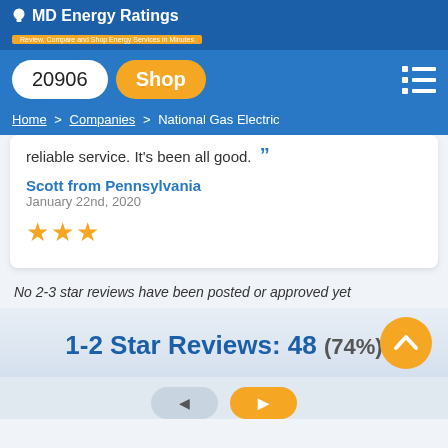MD Energy Ratings
20906  Shop
Home > Companies > National Gas Electric
reliable service. It's been all good.
Scott from Pennsylvania
January 22nd, 2020
★★★
No 2-3 star reviews have been posted or approved yet
1-2 Star Reviews: 48 (74%)